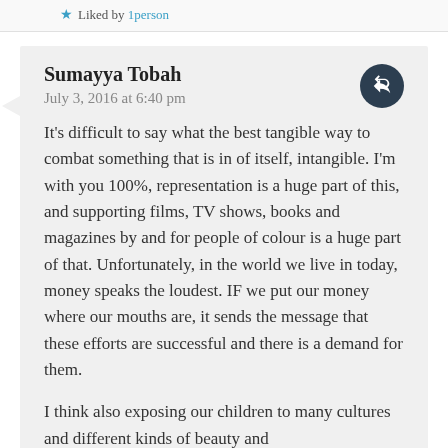Liked by 1person
Sumayya Tobah
July 3, 2016 at 6:40 pm
It's difficult to say what the best tangible way to combat something that is in of itself, intangible. I'm with you 100%, representation is a huge part of this, and supporting films, TV shows, books and magazines by and for people of colour is a huge part of that. Unfortunately, in the world we live in today, money speaks the loudest. IF we put our money where our mouths are, it sends the message that these efforts are successful and there is a demand for them.

I think also exposing our children to many cultures and different kinds of beauty and